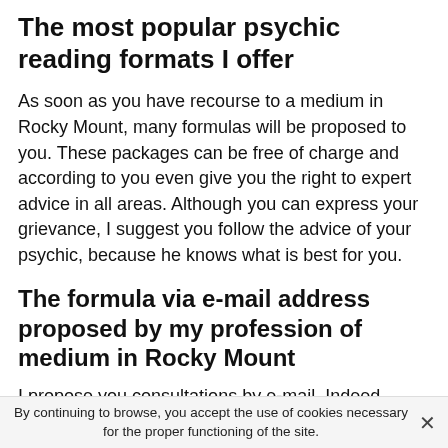The most popular psychic reading formats I offer
As soon as you have recourse to a medium in Rocky Mount, many formulas will be proposed to you. These packages can be free of charge and according to you even give you the right to expert advice in all areas. Although you can express your grievance, I suggest you follow the advice of your psychic, because he knows what is best for you.
The formula via e-mail address proposed by my profession of medium in Rocky Mount
I propose you consultations by e-mail. Indeed, several sites like mine offer this formula. Very practical, this
By continuing to browse, you accept the use of cookies necessary for the proper functioning of the site.